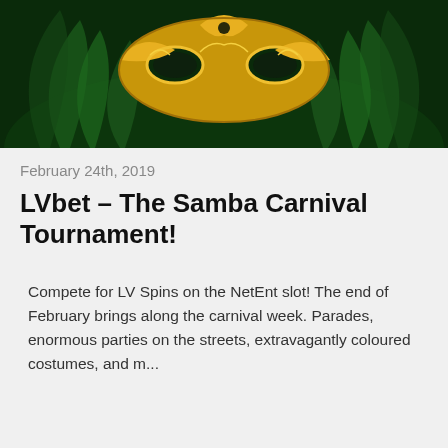[Figure (photo): Gold and green carnival mask on dark green feathered background]
February 24th, 2019
LVbet – The Samba Carnival Tournament!
Compete for LV Spins on the NetEnt slot! The end of February brings along the carnival week. Parades, enormous parties on the streets, extravagantly coloured costumes, and m...
We use cookies on our website to give you the most relevant experience by remembering your preferences and repeat visits. By clicking "Accept All", you consent to the use of ALL the cookies. However, you may visit "Cookie Settings" to provide a controlled consent.
Cookie
What are you looking for on our website?
Reply